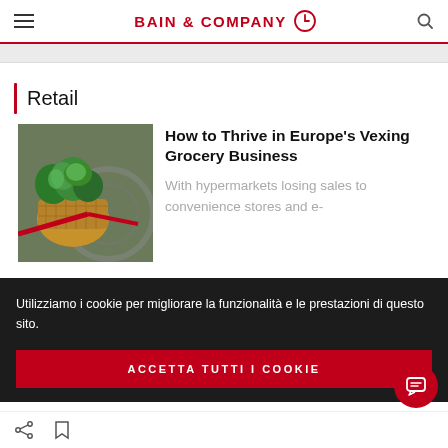BAIN & COMPANY
Retail
[Figure (photo): A wicker basket filled with fresh green herbs/vegetables on a bicycle]
How to Thrive in Europe's Vexing Grocery Business
With hypermarkets losing sales to convenience stores and e-
Utilizziamo i cookie per migliorare la funzionalità e le prestazioni di questo sito.
ACCETTA TUTTI I COOKIE